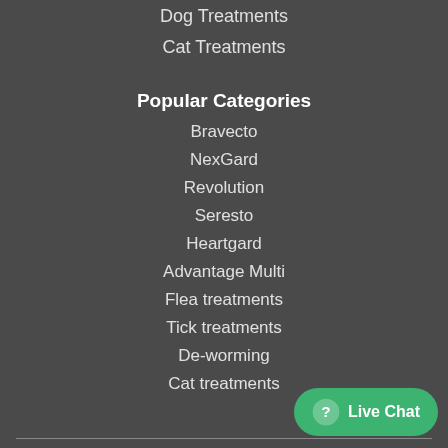Dog Treatments
Cat Treatments
Popular Categories
Bravecto
NexGard
Revolution
Seresto
Heartgard
Advantage Multi
Flea treatments
Tick treatments
De-worming
Cat treatments
Pet Bucket Ltd is a UK registered company. Co. 08345021  |  BTC Bessemer Drive Stevenage  |  Terms and Conditions  |  Privacy